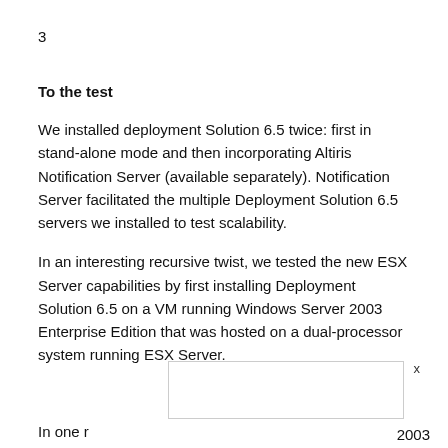3
To the test
We installed deployment Solution 6.5 twice: first in stand-alone mode and then incorporating Altiris Notification Server (available separately). Notification Server facilitated the multiple Deployment Solution 6.5 servers we installed to test scalability.
In an interesting recursive twist, we tested the new ESX Server capabilities by first installing Deployment Solution 6.5 on a VM running Windows Server 2003 Enterprise Edition that was hosted on a dual-processor system running ESX Server.
In one r… 2003